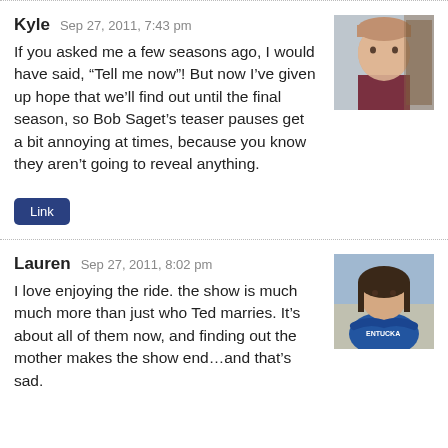Kyle  Sep 27, 2011, 7:43 pm
If you asked me a few seasons ago, I would have said, “Tell me now”! But now I’ve given up hope that we’ll find out until the final season, so Bob Saget’s teaser pauses get a bit annoying at times, because you know they aren’t going to reveal anything.
Link
Lauren  Sep 27, 2011, 8:02 pm
I love enjoying the ride. the show is much much more than just who Ted marries. It’s about all of them now, and finding out the mother makes the show end…and that’s sad.